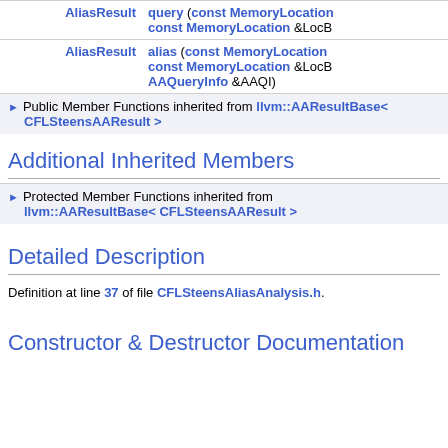| Type | Function |
| --- | --- |
| AliasResult | query (const MemoryLocation & const MemoryLocation &LocB |
| AliasResult | alias (const MemoryLocation & const MemoryLocation &LocB AAQueryInfo &AAQI) |
Public Member Functions inherited from llvm::AAResultBase< CFLSteensAAResult >
Additional Inherited Members
Protected Member Functions inherited from llvm::AAResultBase< CFLSteensAAResult >
Detailed Description
Definition at line 37 of file CFLSteensAliasAnalysis.h.
Constructor & Destructor Documentation